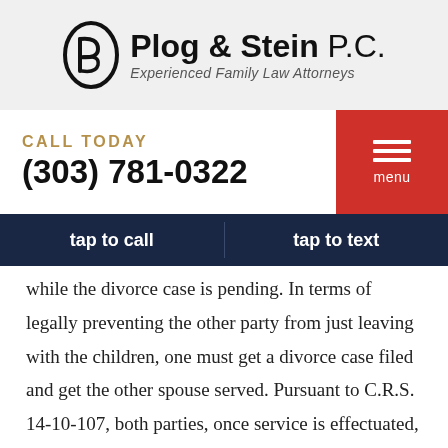[Figure (logo): Plog & Stein P.C. logo with stylized P icon and tagline 'Experienced Family Law Attorneys']
CALL TODAY
(303) 781-0322
menu
tap to call	tap to text
while the divorce case is pending. In terms of legally preventing the other party from just leaving with the children, one must get a divorce case filed and get the other spouse served. Pursuant to C.R.S. 14-10-107, both parties, once service is effectuated, are prohibited from leaving the state with the children